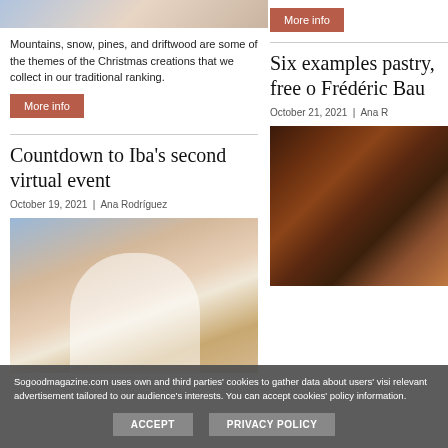[Figure (photo): Partial top image visible at top left - colorful Christmas themed image]
Mountains, snow, pines, and driftwood are some of the themes of the Christmas creations that we collect in our traditional ranking.
More info
[Figure (photo): More info button on right column]
More info
Six examples pastry, free o Frédéric Bau
October 21, 2021 | Ana R
[Figure (photo): Dark chocolate pastry image on right column]
Countdown to Iba's second virtual event
October 19, 2021 | Ana Rodríguez
[Figure (photo): Woman in white chef coat smiling at pastry event]
Sogoodmagazine.com uses own and third parties' cookies to gather data about users' visit relevant advertisement tailored to our audience's interests. You can accept cookies' policy u information.
ACCEPT
PRIVACY POLICY